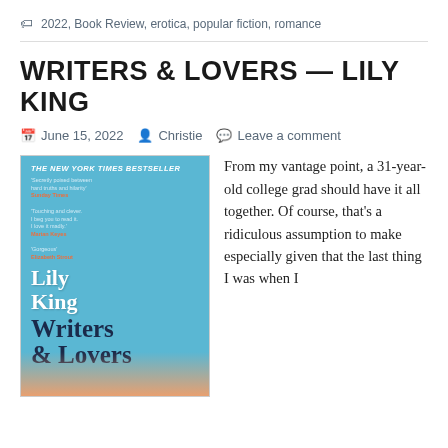🏷 2022, Book Review, erotica, popular fiction, romance
WRITERS & LOVERS — LILY KING
📅 June 15, 2022   👤 Christie   💬 Leave a comment
[Figure (photo): Book cover of 'Writers & Lovers' by Lily King, The New York Times Bestseller, light blue background with white and dark navy text, author name in large white serif font, title in large dark navy serif font, decorative orange element at bottom.]
From my vantage point, a 31-year-old college grad should have it all together. Of course, that's a ridiculous assumption to make especially given that the last thing I was when I